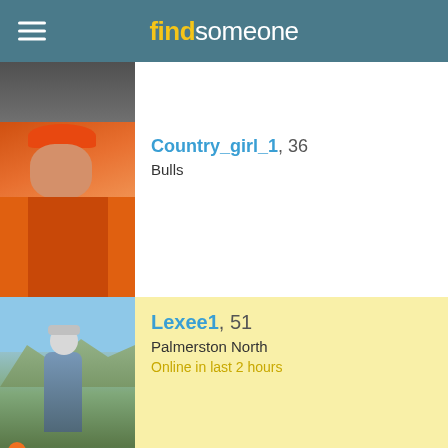find someone
[Figure (photo): Partial profile photo (cropped) at top of listing]
Country_girl_1, 36
Bulls
[Figure (photo): Woman in orange high-visibility jacket and orange hard hat, outdoors at a logging/construction site]
Lexee1, 51
Palmerston North
Online in last 2 hours
[Figure (photo): Woman in grey beanie hat standing on a viewpoint with mountain landscape behind her]
Celtichick, 47
Palmerston North
Online last week
2 photos